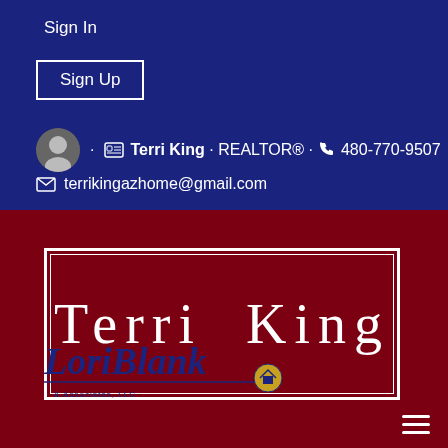Sign In
Sign Up
Terri King · REALTOR® · 480-770-9507
terrikingazhome@gmail.com
Terri King
[Figure (logo): Lori Blank & Associates LLC logo with cursive text and house icon]
hamburger menu icon